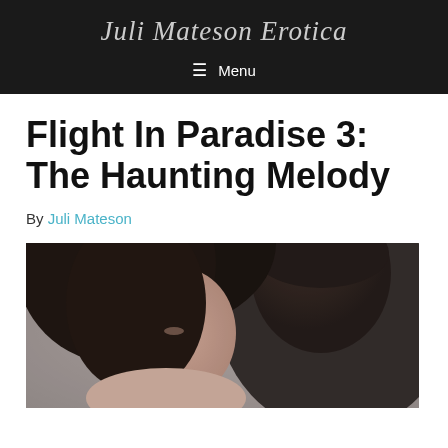Juli Mateson Erotica
Menu
Flight In Paradise 3: The Haunting Melody
By Juli Mateson
[Figure (photo): A woman with dark hair leaning close to a man, seen from behind, in an intimate romantic pose against a soft grey background.]